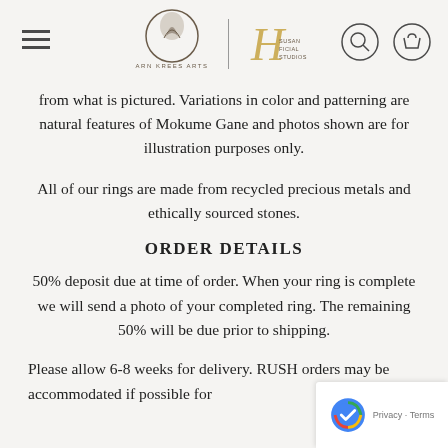ARN KREES ARTS | SUSAN FICIAL STUDIOS [navigation header with logos, search and cart icons]
from what is pictured. Variations in color and patterning are natural features of Mokume Gane and photos shown are for illustration purposes only.
All of our rings are made from recycled precious metals and ethically sourced stones.
ORDER DETAILS
50% deposit due at time of order. When your ring is complete we will send a photo of your completed ring. The remaining 50% will be due prior to shipping.
Please allow 6-8 weeks for delivery. RUSH orders may be accommodated if possible for